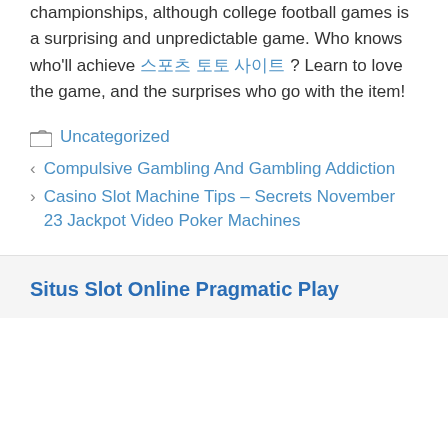championships, although college football games is a surprising and unpredictable game. Who knows who'll achieve 스포츠 토토 사이트 ? Learn to love the game, and the surprises who go with the item!
Uncategorized
Compulsive Gambling And Gambling Addiction
Casino Slot Machine Tips – Secrets November 23 Jackpot Video Poker Machines
Situs Slot Online Pragmatic Play